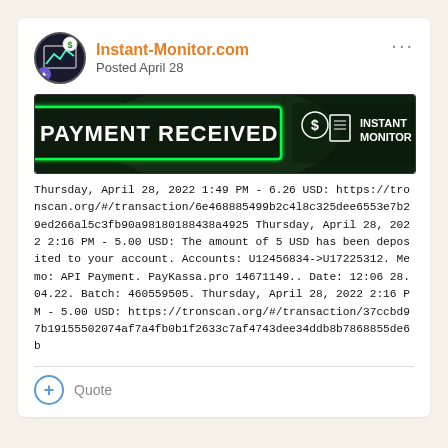Instant-Monitor.com
Posted April 28
[Figure (infographic): Green banner image reading PAYMENT RECEIVED with Instant Monitor logo on the right]
Thursday, April 28, 2022 1:49 PM - 6.26 USD: https://tronscan.org/#/transaction/6e468885499b2c418c325dee6553e7b29ed266a15c3fb90a98180188438a4925 Thursday, April 28, 2022 2:16 PM - 5.00 USD: The amount of 5 USD has been deposited to your account. Accounts: U12456834->U17225312. Memo: API Payment. PayKassa.pro 14671149.. Date: 12:06 28.04.22. Batch: 460559505. Thursday, April 28, 2022 2:16 PM - 5.00 USD: https://tronscan.org/#/transaction/37ccbd97b19155502074af7a4fb0b1f2633c7af4743dee34ddb8b7868855de6b